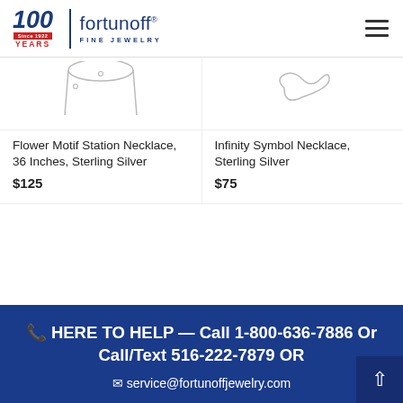[Figure (logo): Fortunoff Fine Jewelry logo with 100 Years Since 1922 badge and hamburger menu icon]
[Figure (photo): Partial image of Flower Motif Station Necklace, 36 Inches, Sterling Silver and Infinity Symbol Necklace, Sterling Silver on white background]
Flower Motif Station Necklace, 36 Inches, Sterling Silver
$125
Infinity Symbol Necklace, Sterling Silver
$75
📞 HERE TO HELP — Call 1-800-636-7886 Or Call/Text 516-222-7879 OR
✉ service@fortunoffjewelry.com